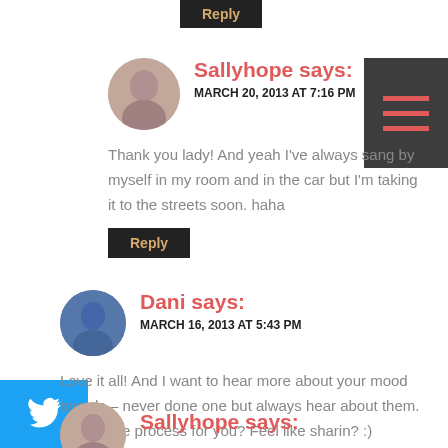Reply
Sallyhope says:
MARCH 20, 2013 AT 7:16 PM
Thank you lady! And yeah I've always sang by myself in my room and in the car but I'm taking it to the streets soon. haha
Reply
Dani says:
MARCH 16, 2013 AT 5:43 PM
Love it all! And I want to hear more about your mood boards – never done one but always hear about them. What's the process for you? Feel like sharin? :)
Reply
Sallyhope says: